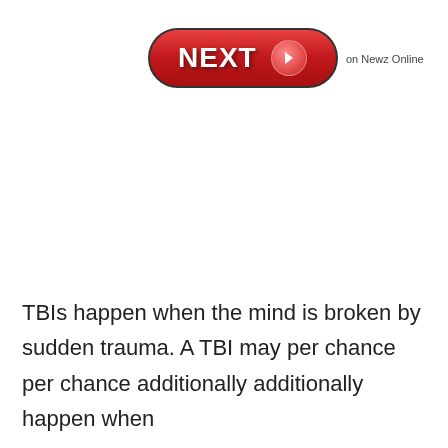[Figure (illustration): A red pill-shaped NEXT button with white bold text 'NEXT' and a circular arrow icon on the right, followed by small text 'on Newz Online']
TBIs happen when the mind is broken by sudden trauma. A TBI may per chance per chance additionally additionally happen when